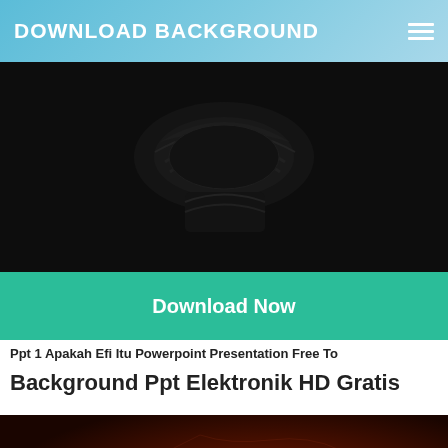DOWNLOAD BACKGROUND
[Figure (photo): Dark automotive/speaker grille image on dark background]
Download Now
Ppt 1 Apakah Efi Itu Powerpoint Presentation Free To
Background Ppt Elektronik HD Gratis
[Figure (photo): Dark red/brown background with credit card numbers 5540 and 1605, world map outline visible]